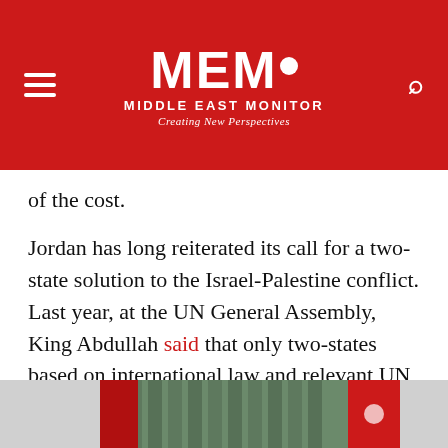MEMO MIDDLE EAST MONITOR — Creating New Perspectives
of the cost.
Jordan has long reiterated its call for a two-state solution to the Israel-Palestine conflict. Last year, at the UN General Assembly, King Abdullah said that only two-states based on international law and relevant UN resolutions would meet the needs of both parties. Despite the fact that Jordan has been sticking to this principle, Trump's policies have increasingly made it unachievable.
[Figure (photo): Photo showing flags and curtains in background, bottom portion of image cropped into view]